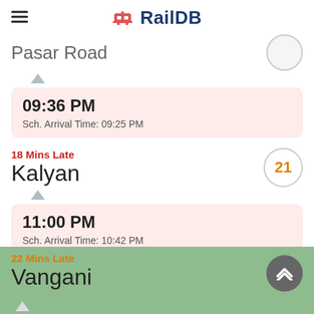RailDB
Pasar Road
09:36 PM
Sch. Arrival Time: 09:25 PM
18 Mins Late
Kalyan
21
11:00 PM
Sch. Arrival Time: 10:42 PM
22 Mins Late
Vangani